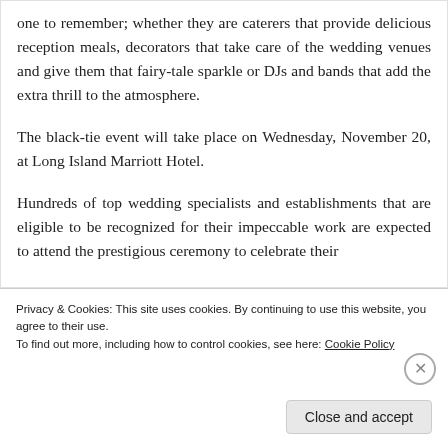one to remember; whether they are caterers that provide delicious reception meals, decorators that take care of the wedding venues and give them that fairy-tale sparkle or DJs and bands that add the extra thrill to the atmosphere.
The black-tie event will take place on Wednesday, November 20, at Long Island Marriott Hotel.
Hundreds of top wedding specialists and establishments that are eligible to be recognized for their impeccable work are expected to attend the prestigious ceremony to celebrate their
Privacy & Cookies: This site uses cookies. By continuing to use this website, you agree to their use.
To find out more, including how to control cookies, see here: Cookie Policy